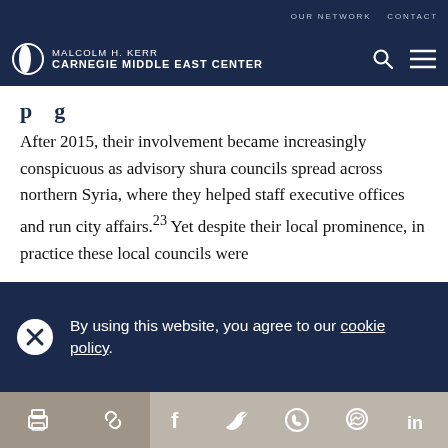OUR NETWORK   CONTACT
MALCOLM H. KERR CARNEGIE MIDDLE EAST CENTER
After 2015, their involvement became increasingly conspicuous as advisory shura councils spread across northern Syria, where they helped staff executive offices and run city affairs.23 Yet despite their local prominence, in practice these local councils were
By using this website, you agree to our cookie policy.